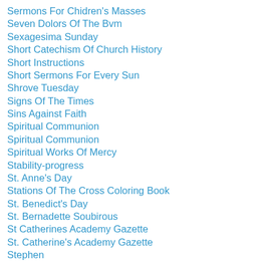Sermons For Chidren's Masses
Seven Dolors Of The Bvm
Sexagesima Sunday
Short Catechism Of Church History
Short Instructions
Short Sermons For Every Sun
Shrove Tuesday
Signs Of The Times
Sins Against Faith
Spiritual Communion
Spiritual Communion
Spiritual Works Of Mercy
Stability-progress
St. Anne's Day
Stations Of The Cross Coloring Book
St. Benedict's Day
St. Bernadette Soubirous
St Catherines Academy Gazette
St. Catherine's Academy Gazette
Stephen